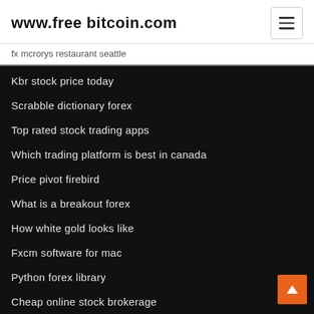www.free bitcoin.com
fx mcrorys restaurant seattle
Kbr stock price today
Scrabble dictionary forex
Top rated stock trading apps
Which trading platform is best in canada
Price pivot firebird
What is a breakout forex
How white gold looks like
Fxcm software for mac
Python forex library
Cheap online stock brokerage